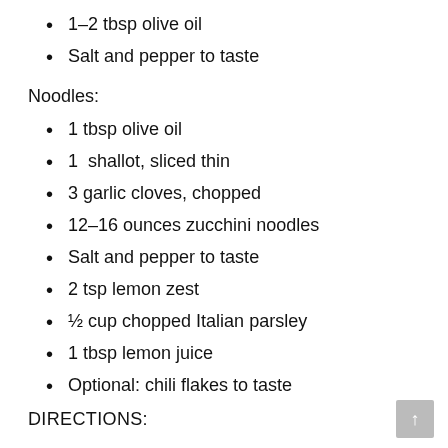1–2 tbsp olive oil
Salt and pepper to taste
Noodles:
1 tbsp olive oil
1  shallot, sliced thin
3 garlic cloves, chopped
12–16 ounces zucchini noodles
Salt and pepper to taste
2 tsp lemon zest
½ cup chopped Italian parsley
1 tbsp lemon juice
Optional: chili flakes to taste
DIRECTIONS: